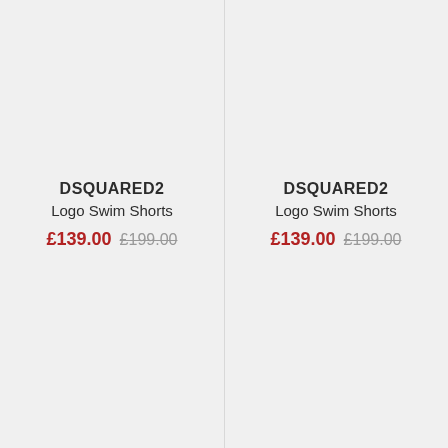DSQUARED2
Logo Swim Shorts
£139.00  £199.00
DSQUARED2
Logo Swim Shorts
£139.00  £199.00